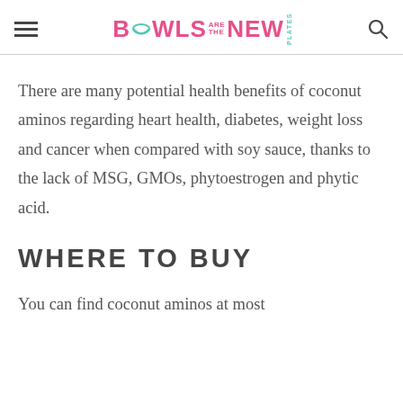BOWLS ARE THE NEW PLATES
There are many potential health benefits of coconut aminos regarding heart health, diabetes, weight loss and cancer when compared with soy sauce, thanks to the lack of MSG, GMOs, phytoestrogen and phytic acid.
WHERE TO BUY
You can find coconut aminos at most